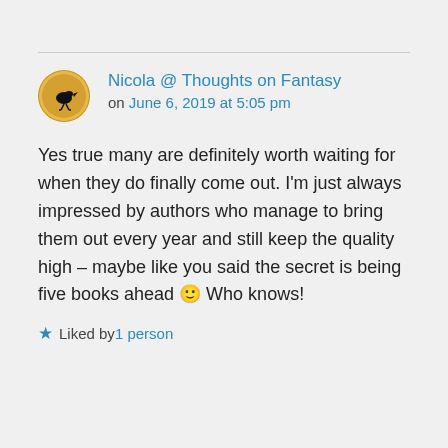Nicola @ Thoughts on Fantasy on June 6, 2019 at 5:05 pm
Yes true many are definitely worth waiting for when they do finally come out. I'm just always impressed by authors who manage to bring them out every year and still keep the quality high – maybe like you said the secret is being five books ahead 🙂 Who knows!
★ Liked by 1 person